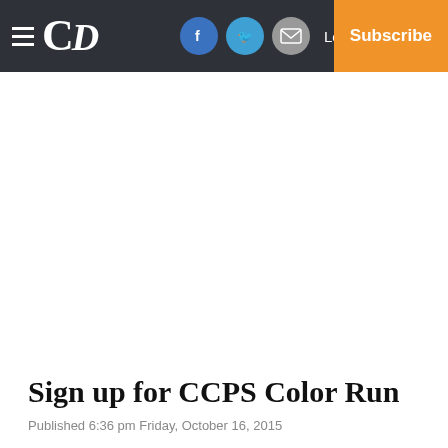CD | Log In | Subscribe
Sign up for CCPS Color Run
Published 6:36 pm Friday, October 16, 2015